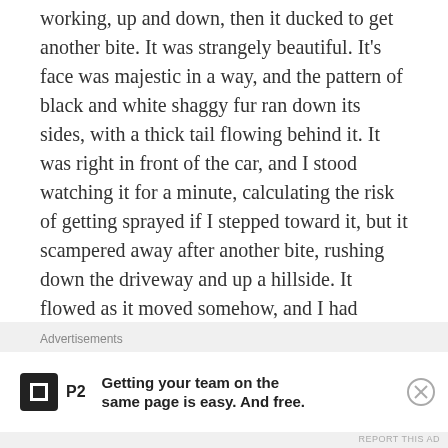working, up and down, then it ducked to get another bite. It was strangely beautiful. It's face was majestic in a way, and the pattern of black and white shaggy fur ran down its sides, with a thick tail flowing behind it. It was right in front of the car, and I stood watching it for a minute, calculating the risk of getting sprayed if I stepped toward it, but it scampered away after another bite, rushing down the driveway and up a hillside. It flowed as it moved somehow, and I had images of Pepe Lepew from Looney Toons rush through my mind, jumping gracefully as he chased the female cat.
After a good night's sleep, the four of us woke to a hearty farm breakfast. As we sat to a meal of
Advertisements
[Figure (other): Advertisement banner for P2 app with logo and text: Getting your team on the same page is easy. And free.]